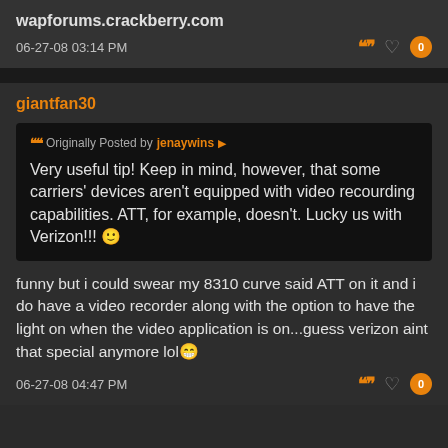wapforums.crackberry.com
06-27-08 03:14 PM
giantfan30
Originally Posted by jenaywins
Very useful tip! Keep in mind, however, that some carriers' devices aren't equipped with video recourding capabilities. ATT, for example, doesn't. Lucky us with Verizon!!! 🙂
funny but i could swear my 8310 curve said ATT on it and i do have a video recorder along with the option to have the light on when the video application is on...guess verizon aint that special anymore lol😁
06-27-08 04:47 PM